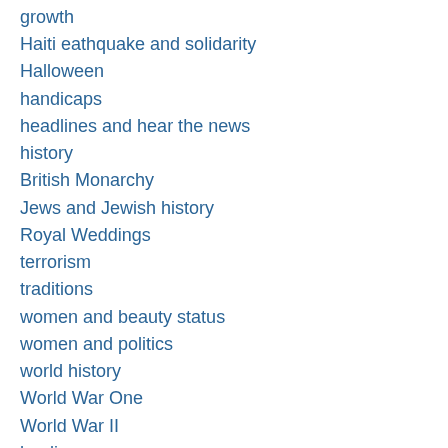growth
Haiti eathquake and solidarity
Halloween
handicaps
headlines and hear the news
history
British Monarchy
Jews and Jewish history
Royal Weddings
terrorism
traditions
women and beauty status
women and politics
world history
World War One
World War II
hooligans
humor/humour and satire